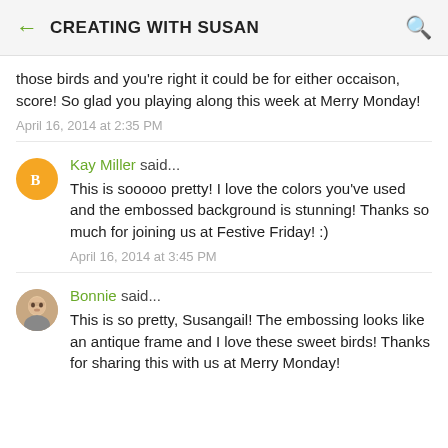CREATING WITH SUSAN
those birds and you're right it could be for either occaison, score! So glad you playing along this week at Merry Monday!
April 16, 2014 at 2:35 PM
Kay Miller said...
This is sooooo pretty! I love the colors you've used and the embossed background is stunning! Thanks so much for joining us at Festive Friday! :)
April 16, 2014 at 3:45 PM
Bonnie said...
This is so pretty, Susangail! The embossing looks like an antique frame and I love these sweet birds! Thanks for sharing this with us at Merry Monday!